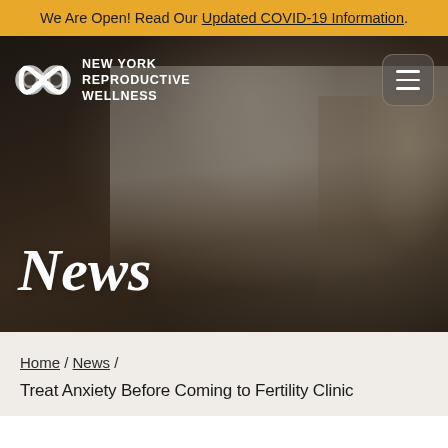We Are Open! Read Our Updated COVID-19 Information.
[Figure (photo): Hero banner showing a doctor in a white lab coat reviewing documents with a blonde female patient. The New York Reproductive Wellness logo and navigation bar with hamburger menu are overlaid on the photo. The word 'News' in large italic serif font appears in the lower left of the image.]
Home / News / Treat Anxiety Before Coming to Fertility Clinic